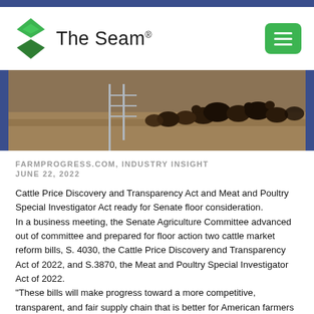[Figure (logo): The Seam logo with green diamond/arrow icon and navigation menu button]
[Figure (photo): Cattle in a feedlot pen with metal fencing, brown dry ground, herd of cattle visible]
FARMPROGRESS.COM, INDUSTRY INSIGHT
JUNE 22, 2022
Cattle Price Discovery and Transparency Act and Meat and Poultry Special Investigator Act ready for Senate floor consideration.
In a business meeting, the Senate Agriculture Committee advanced out of committee and prepared for floor action two cattle market reform bills, S. 4030, the Cattle Price Discovery and Transparency Act of 2022, and S.3870, the Meat and Poultry Special Investigator Act of 2022.
"These bills will make progress toward a more competitive, transparent, and fair supply chain that is better for American farmers and better able to keep food on all our tables," says